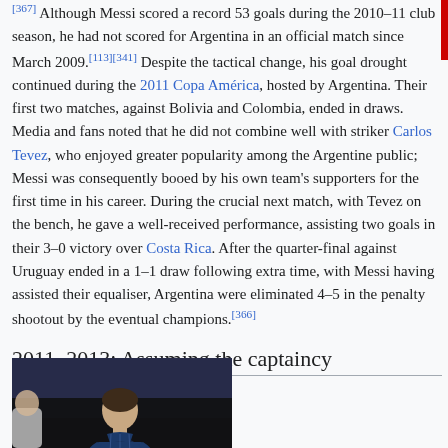[367] Although Messi scored a record 53 goals during the 2010–11 club season, he had not scored for Argentina in an official match since March 2009.[113][341] Despite the tactical change, his goal drought continued during the 2011 Copa América, hosted by Argentina. Their first two matches, against Bolivia and Colombia, ended in draws. Media and fans noted that he did not combine well with striker Carlos Tevez, who enjoyed greater popularity among the Argentine public; Messi was consequently booed by his own team's supporters for the first time in his career. During the crucial next match, with Tevez on the bench, he gave a well-received performance, assisting two goals in their 3–0 victory over Costa Rica. After the quarter-final against Uruguay ended in a 1–1 draw following extra time, with Messi having assisted their equaliser, Argentina were eliminated 4–5 in the penalty shootout by the eventual champions.[366]
2011–2013: Assuming the captaincy
[Figure (photo): A photo showing a football player (Messi) wearing a dark jersey, partially cropped at the bottom of the page.]